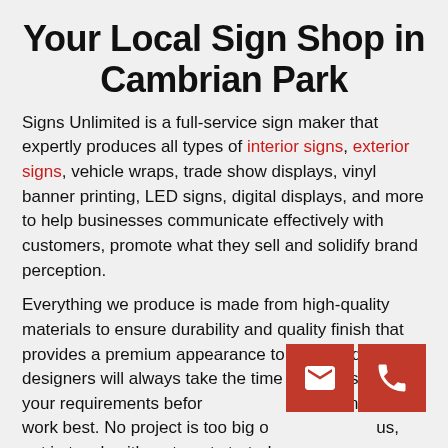Your Local Sign Shop in Cambrian Park
Signs Unlimited is a full-service sign maker that expertly produces all types of interior signs, exterior signs, vehicle wraps, trade show displays, vinyl banner printing, LED signs, digital displays, and more to help businesses communicate effectively with customers, promote what they sell and solidify brand perception.
Everything we produce is made from high-quality materials to ensure durability and quality finish that provides a premium appearance to the brand. Our designers will always take the time to understand your requirements before suggesting what might work best. No project is too big or too small for us, get in touch with us to get started.